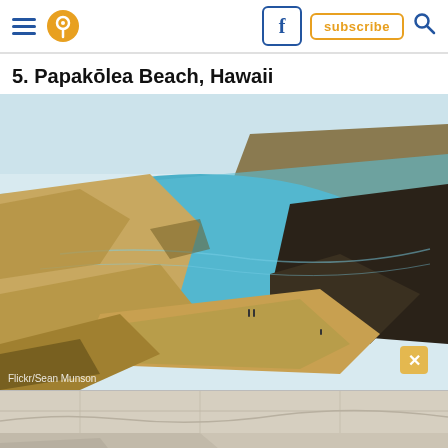Navigation bar with hamburger menu, location pin icon, Facebook button, subscribe button, search icon
5. Papakōlea Beach, Hawaii
[Figure (photo): Aerial view of Papakōlea Green Sand Beach in Hawaii, showing a cove with turquoise water surrounded by brown sandy volcanic cliffs and rocky shoreline, with a few visitors visible on the beach]
Flickr/Sean Munson